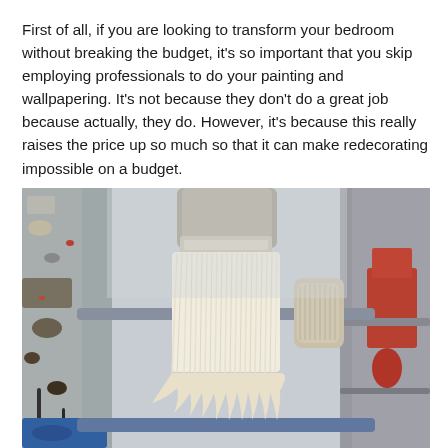First of all, if you are looking to transform your bedroom without breaking the budget, it's so important that you skip employing professionals to do your painting and wallpapering. It's not because they don't do a great job because actually, they do. However, it's because this really raises the price up so much so that it can make redecorating impossible on a budget.
[Figure (photo): Close-up photograph of a used paint brush resting on a paint-splattered ladder. The brush bristles are cream/pale yellow colored and fanned out. The ladder is metal with blue and rust-colored paint stains.]